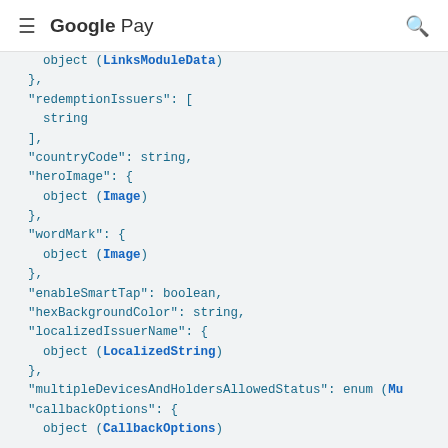Google Pay
object (LinksModuleData)
},
"redemptionIssuers": [
  string
],
"countryCode": string,
"heroImage": {
  object (Image)
},
"wordMark": {
  object (Image)
},
"enableSmartTap": boolean,
"hexBackgroundColor": string,
"localizedIssuerName": {
  object (LocalizedString)
},
"multipleDevicesAndHoldersAllowedStatus": enum (Mu
"callbackOptions": {
  object (CallbackOptions)